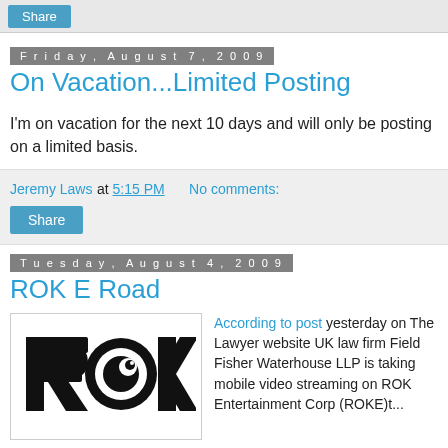Share
Friday, August 7, 2009
On Vacation...Limited Posting
I'm on vacation for the next 10 days and will only be posting on a limited basis.
Jeremy Laws at 5:15 PM   No comments:
Share
Tuesday, August 4, 2009
ROK E Road
[Figure (logo): ROK logo — bold black letters R, O, K with a stylized O featuring a circular lens or eye graphic]
According to post yesterday on The Lawyer website UK law firm Field Fisher Waterhouse LLP is taking mobile video streaming on ROK Entertainment Corp (ROKE)t...